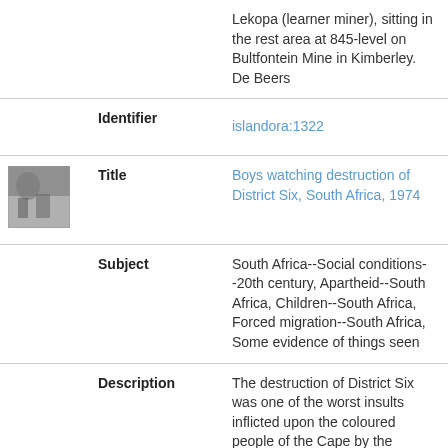|  |  | Lekopa (learner miner), sitting in the rest area at 845-level on Bultfontein Mine in Kimberley. De Beers |
|  | Identifier | islandora:1322 |
| [image] | Title | Boys watching destruction of District Six, South Africa, 1974 |
|  | Subject | South Africa--Social conditions--20th century, Apartheid--South Africa, Children--South Africa, Forced migration--South Africa, Some evidence of things seen |
|  | Description | The destruction of District Six was one of the worst insults inflicted upon the coloured people of the Cape by the National Party (NP). On a Sunday morning in 1974, three boys from a nearby shack strolled passed the demolition, sat on what used to be the pavement, and |